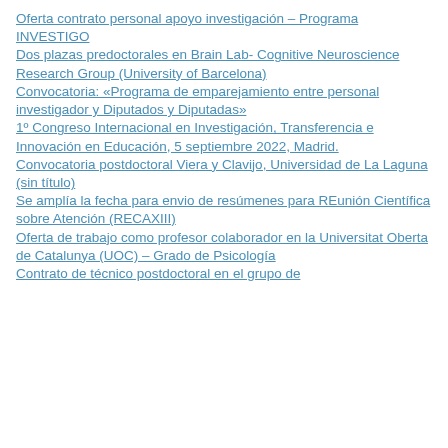Oferta contrato personal apoyo investigación – Programa INVESTIGO
Dos plazas predoctorales en Brain Lab- Cognitive Neuroscience Research Group (University of Barcelona)
Convocatoria: «Programa de emparejamiento entre personal investigador y Diputados y Diputadas»
1º Congreso Internacional en Investigación, Transferencia e Innovación en Educación, 5 septiembre 2022, Madrid.
Convocatoria postdoctoral Viera y Clavijo, Universidad de La Laguna
(sin título)
Se amplía la fecha para envio de resúmenes para REunión Científica sobre Atención (RECAXIII)
Oferta de trabajo como profesor colaborador en la Universitat Oberta de Catalunya (UOC) – Grado de Psicología
Contrato de técnico postdoctoral en el grupo de